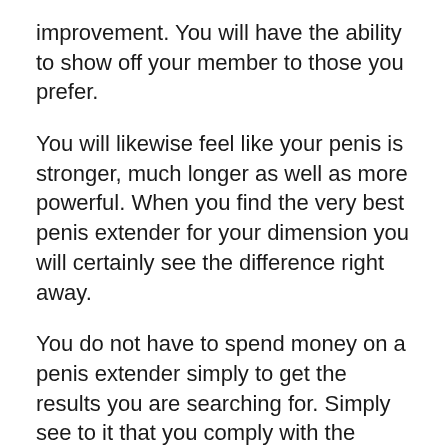improvement. You will have the ability to show off your member to those you prefer.
You will likewise feel like your penis is stronger, much longer as well as more powerful. When you find the very best penis extender for your dimension you will certainly see the difference right away.
You do not have to spend money on a penis extender simply to get the results you are searching for. Simply see to it that you comply with the instructions thoroughly and also use it properly. You will get your preferred outcomes rapidly. When you have a bigger penis, you will see that you have extra control over your body and also your